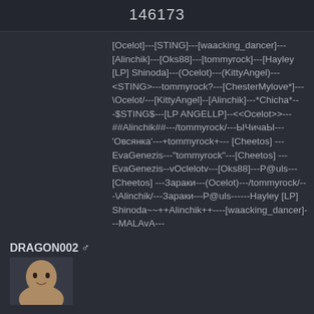146173
DRAGON002 ♂
[Ocelot]---[STING]---[waacking_dancer]---[Alinchik]---[Oks88]---[tommyrock]---[Hayley [LP] Shinoda]---(Ocelot)---(KittyAngel)---<STING>---tommyrock?---[ChesterMylove*]---\Ocelot/---[KittyAngel]--[Alinchik]---*Chicha*---$STING$---[LP ANGELLP]--<<Ocelot>>---##Alinchik##---/tommyrock/---ЫЧичаЫ---'Овсянка'---+tommyrock+--- [Cheetos] ---EvaGenezis---"tommyrock"---[Cheetos] ---EvaGenezis--vOclelotv---[Oks88]---P@uls---[Cheetos] ---Зараки---(Ocelot)---/tommyrock/---\Alinchik/---Зараки---P@uls------Hayley [LP] Shinoda~~++Alinchik++----[waacking_dancer]---MALAvA---